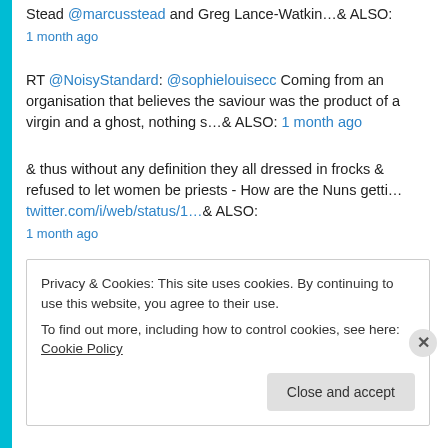Stead @marcusstead and Greg Lance-Watkin…& ALSO:
1 month ago
RT @NoisyStandard: @sophielouisecc Coming from an organisation that believes the saviour was the product of a virgin and a ghost, nothing s…& ALSO: 1 month ago
& thus without any definition they all dressed in frocks & refused to let women be priests - How are the Nuns getti… twitter.com/i/web/status/1…& ALSO:
1 month ago
Privacy & Cookies: This site uses cookies. By continuing to use this website, you agree to their use.
To find out more, including how to control cookies, see here: Cookie Policy
Close and accept